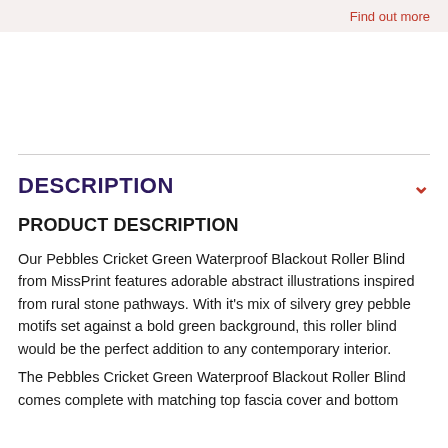Find out more
DESCRIPTION
PRODUCT DESCRIPTION
Our Pebbles Cricket Green Waterproof Blackout Roller Blind from MissPrint features adorable abstract illustrations inspired from rural stone pathways. With it's mix of silvery grey pebble motifs set against a bold green background, this roller blind would be the perfect addition to any contemporary interior.
The Pebbles Cricket Green Waterproof Blackout Roller Blind comes complete with matching top fascia cover and bottom bar and with lots more.